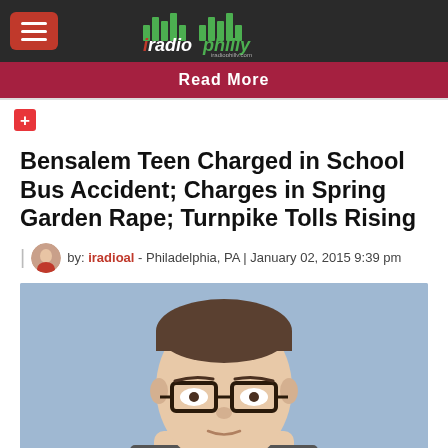iradio philly - iradiophilly.com
Read More
+
Bensalem Teen Charged in School Bus Accident; Charges in Spring Garden Rape; Turnpike Tolls Rising
by: iradioal - Philadelphia, PA | January 02, 2015 9:39 pm
[Figure (photo): Mugshot of a young male teenager with short brown hair and black-rimmed glasses against a blue background]